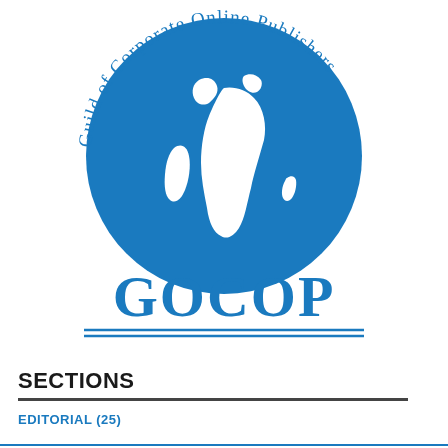[Figure (logo): GOCOP logo — Guild of Corporate Online Publishers. A blue globe with Africa and South America visible, surrounded by curved text reading 'Guild of Corporate Online Publishers' along the top arc. Below the globe the acronym 'GOCOP' appears in large bold blue serif letters, followed by two horizontal blue lines.]
SECTIONS
EDITORIAL (25)